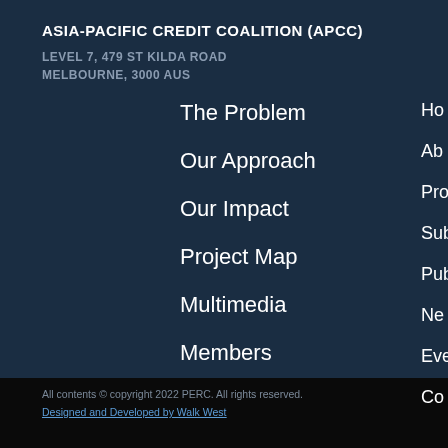ASIA-PACIFIC CREDIT COALITION (APCC)
LEVEL 7, 479 ST KILDA ROAD
MELBOURNE, 3000 AUS
The Problem
Our Approach
Our Impact
Project Map
Multimedia
Members
Ho...
Ab...
Pro...
Sub...
Pub...
Ne...
Eve...
Co...
All contents © copyright 2022 PERC. All rights reserved.
Designed and Developed by Walk West